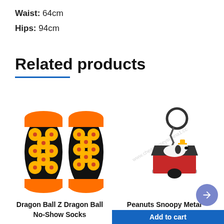Waist: 64cm
Hips: 94cm
Related products
[Figure (photo): Two Dragon Ball Z Dragon Ball No-Show Socks with orange cuffs and orange toe/heel on black background with yellow dragon balls printed on them]
Dragon Ball Z Dragon Ball No-Show Socks
[Figure (photo): Peanuts Snoopy Metal Keychain featuring Snoopy lying on his red dog house, with a metal chain and ring, watermark www.cheapjerseyschina1.cc]
Peanuts Snoopy Metal Keychain